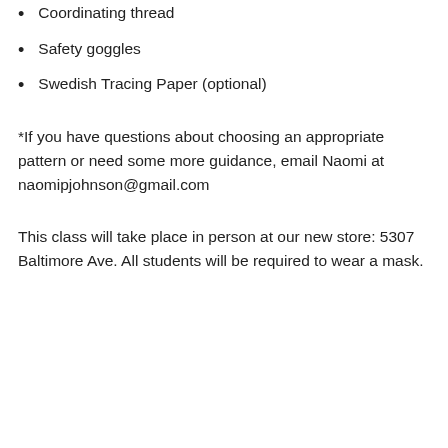Coordinating thread
Safety goggles
Swedish Tracing Paper (optional)
*If you have questions about choosing an appropriate pattern or need some more guidance, email Naomi at naomipjohnson@gmail.com
This class will take place in person at our new store: 5307 Baltimore Ave. All students will be required to wear a mask.